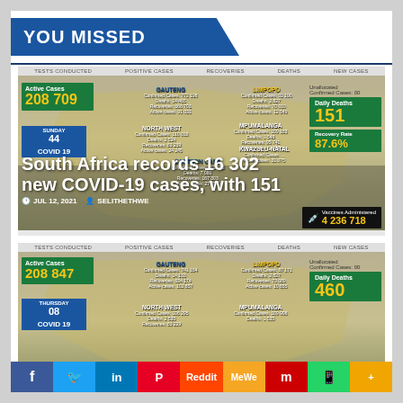YOU MISSED
[Figure (infographic): South Africa COVID-19 stats infographic showing map with provincial data. Active Cases: 208 709, Daily Deaths: 151, Recovery Rate: 87.6%, Vaccines Administered: 4 236 718. Headline: South Africa records 16 302 new COVID-19 cases, with 151. Date: JUL 12, 2021. Author: SELITHETHWE.]
JUL 12, 2021  SELITHETHWE
[Figure (infographic): Second South Africa COVID-19 stats infographic. Active Cases: 208 847, Daily Deaths: 460. Thursday 08.]
f  Twitter  in  Pinterest  Reddit  MeWe  Mix  WhatsApp  More